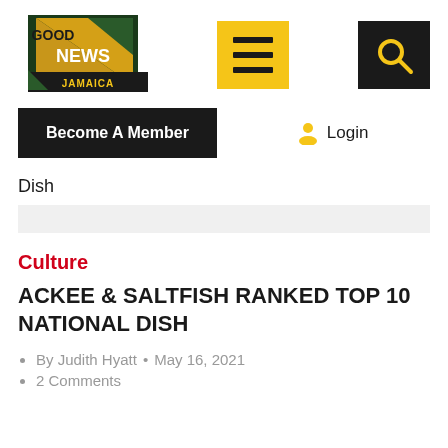[Figure (logo): Good News Jamaica logo — gold and dark green triangular banner with text GOOD NEWS JAMAICA]
[Figure (other): Yellow square hamburger/menu icon with three dark horizontal bars]
[Figure (other): Black square search icon with yellow magnifying glass]
[Figure (other): Black Become A Member button]
Login
Dish
Culture
ACKEE & SALTFISH RANKED TOP 10 NATIONAL DISH
By Judith Hyatt  •  May 16, 2021
2 Comments